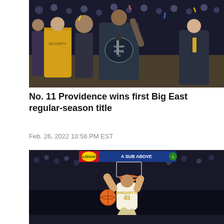[Figure (photo): Crowd scene on basketball court after game, man in center wearing championship t-shirt with arm raised holding microphone, security guard in yellow jacket visible on left, other people surrounding]
No. 11 Providence wins first Big East regular-season title
Feb. 26, 2022 10:56 PM EST
[Figure (photo): Basketball player in white and gold uniform dunking the ball, hanging on the rim, crowd visible in background, arena scoreboard visible at top showing 'A SUB ABOVE']